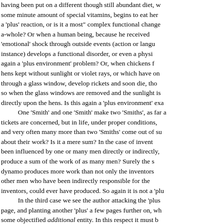having been put on a different though still abundant diet, w some minute amount of special vitamins, begins to eat her a 'plus' reaction, or is it a most" complex functional change a-whole? Or when a human being, because he received 'emotional' shock through outside events (action or langu instance) develops a functional disorder, or even a physi again a 'plus environment' problem? Or, when chickens f hens kept without sunlight or violet rays, or which have on through a glass window, develop rickets and soon die, tho so when the glass windows are removed and the sunlight is directly upon the hens. Is this again a 'plus environment' ex One 'Smith' and one 'Smith' make two 'Smiths', as far a tickets are concerned, but in life, under proper conditions, and very often many more than two 'Smiths' come out of s about their work? Is it a mere sum? In the case of inven been influenced by one or many men directly or indirectly, produce a sum of the work of as many men? Surely the s dynamo produces more work than not only the inventors other men who have been indirectly responsible for the inventors, could ever have produced. So again it is not a 'pl In the third case we see the author attacking the 'pl page, and planting another 'plus' a few pages further on, w some objectified additional entity. In this respect it must additive tendency represents a partial and important stru mechanism of identification, and to deal successfully with the problem connected with the additive tendency. The numberless and endless 'philosophical' volumes, have been written about the 'body-soul' problems, sh structural and semantic importance of the clearing up of th plus' issue. The reader may recall that the A, the E, and one underlying structural metaphysics. The systems d